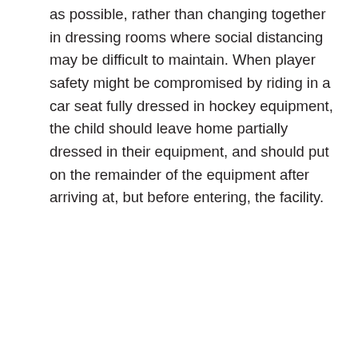as possible, rather than changing together in dressing rooms where social distancing may be difficult to maintain. When player safety might be compromised by riding in a car seat fully dressed in hockey equipment, the child should leave home partially dressed in their equipment, and should put on the remainder of the equipment after arriving at, but before entering, the facility.